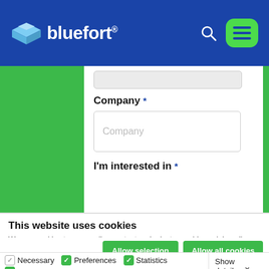[Figure (screenshot): Bluefort website header with logo on blue background, search icon, and green menu button]
Company *
[Figure (screenshot): Form field with Company label and text input box with placeholder text 'Company']
I'm interested in *
This website uses cookies
We use cookies to personalise content and ads, to provide social media features and to analyse our traffic. We also share information about your use of our site with our social media, advertising and analytics partners who may combine it with other information that you've provided to them or that they've collected from your use of their services.
Allow selection | Allow all cookies
Necessary  Preferences  Statistics  Marketing  Show details